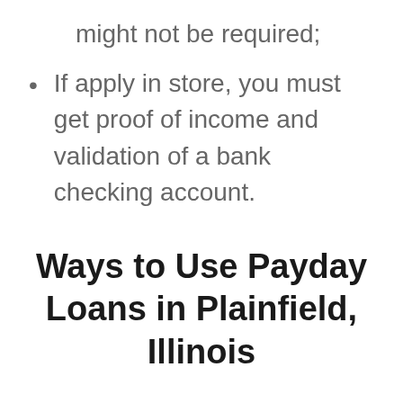might not be required;
If apply in store, you must get proof of income and validation of a bank checking account.
Ways to Use Payday Loans in Plainfield, Illinois
The situations when you need cash as fast as possible may occur more often